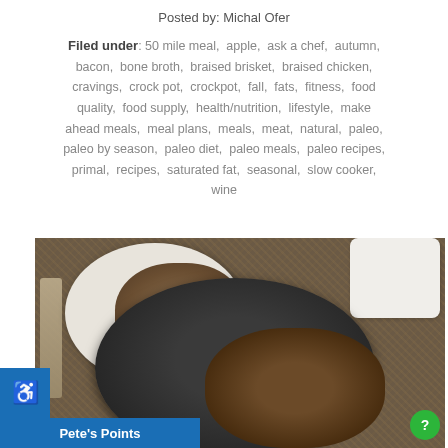Posted by: Michal Ofer
Filed under: 50 mile meal,  apple,  ask a chef,  autumn,  bacon,  bone broth,  braised brisket,  braised chicken,  cravings,  crock pot,  crockpot,  fall,  fats,  fitness,  food quality,  food supply,  health/nutrition,  lifestyle,  make ahead meals,  meal plans,  meals,  meat,  natural,  paleo,  paleo by season,  paleo diet,  paleo meals,  paleo recipes,  primal,  recipes,  saturated fat,  seasonal,  slow cooker,  wine
[Figure (photo): A top-down photo of braised chicken in a black cast iron pot with vegetables, served on burlap, with a white plate of food and fork beside it.]
Pete's Points